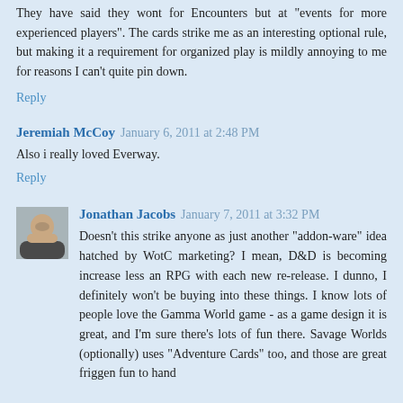They have said they wont for Encounters but at "events for more experienced players". The cards strike me as an interesting optional rule, but making it a requirement for organized play is mildly annoying to me for reasons I can't quite pin down.
Reply
Jeremiah McCoy  January 6, 2011 at 2:48 PM
Also i really loved Everway.
Reply
Jonathan Jacobs  January 7, 2011 at 3:32 PM
Doesn't this strike anyone as just another "addon-ware" idea hatched by WotC marketing? I mean, D&D is becoming increase less an RPG with each new re-release. I dunno, I definitely won't be buying into these things. I know lots of people love the Gamma World game - as a game design it is great, and I'm sure there's lots of fun there. Savage Worlds (optionally) uses "Adventure Cards" too, and those are great friggen fun to hand